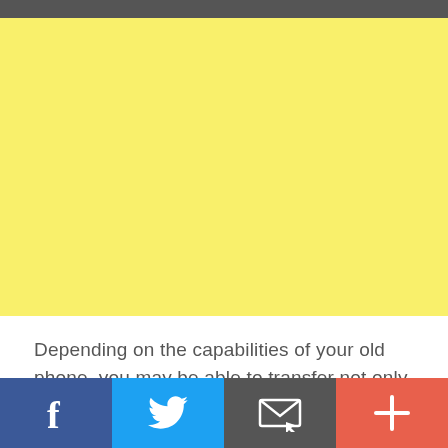[Figure (other): Dark grey header bar at the top of the page]
[Figure (other): Large yellow/light yellow rectangular block filling upper portion of the page]
Depending on the capabilities of your old phone, you may be able to transfer not only contacts but also other data such as calendar events and text messages to your new
Social share footer bar with Facebook, Twitter, Email, and More (+) buttons